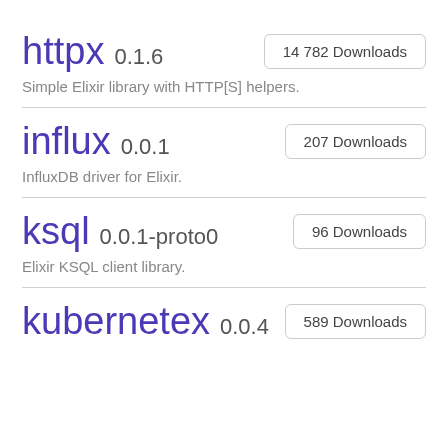httpx 0.1.6
14 782 Downloads
Simple Elixir library with HTTP[S] helpers.
influx 0.0.1
207 Downloads
InfluxDB driver for Elixir.
ksql 0.0.1-proto0
96 Downloads
Elixir KSQL client library.
kubernetex 0.0.4
589 Downloads